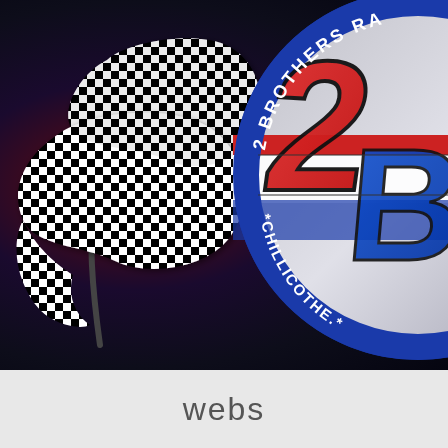[Figure (logo): 2 Brothers Racing logo with checkered racing flags on dark background. Logo shows a circular badge with '2 BROTHERS RA...' text on top arc, '2B' large stylized letters in red and blue, '*CHILLICOTHE.*' on bottom arc. Black and white checkered racing flag on the left side. Footer shows 'webs' text on light gray background.]